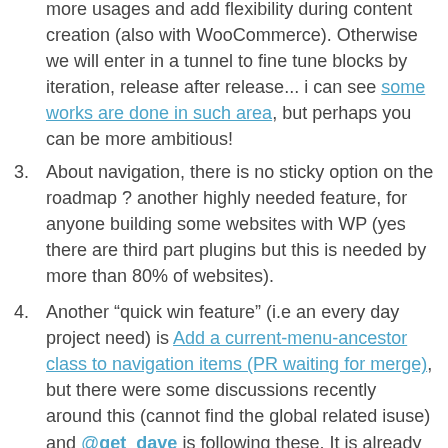more usages and add flexibility during content creation (also with WooCommerce). Otherwise we will enter in a tunnel to fine tune blocks by iteration, release after release... i can see some works are done in such area, but perhaps you can be more ambitious!
3. About navigation, there is no sticky option on the roadmap ? another highly needed feature, for anyone building some websites with WP (yes there are third part plugins but this is needed by more than 80% of websites).
4. Another “quick win feature” (i.e an every day project need) is Add a current-menu-ancestor class to navigation items (PR waiting for merge), but there were some discussions recently around this (cannot find the global related isuse) and @get_dave is following these. It is already in the roadmap but as